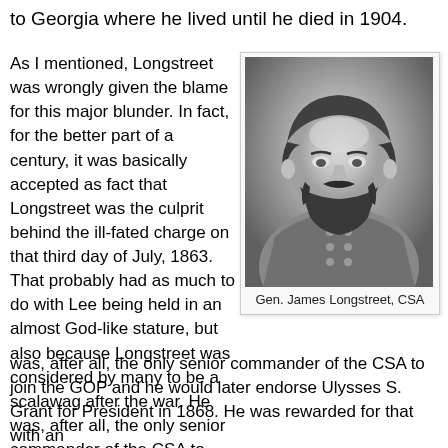to Georgia where he lived until he died in 1904.
As I mentioned, Longstreet was wrongly given the blame for this major blunder. In fact, for the better part of a century, it was basically accepted as fact that Longstreet was the culprit behind the ill-fated charge on that third day of July, 1863. That probably had as much to do with Lee being held in an almost God-like stature, but also because Longstreet was considered by many to be a scalawag after the war. He was, after all, the only senior commander of the CSA to join the GOP and he would later endorse Ulysses S. Grant for President in 1868. He was rewarded for that with an
[Figure (photo): Black and white portrait photograph of General James Longstreet, CSA, showing him in Confederate uniform with a beard.]
Gen. James Longstreet, CSA